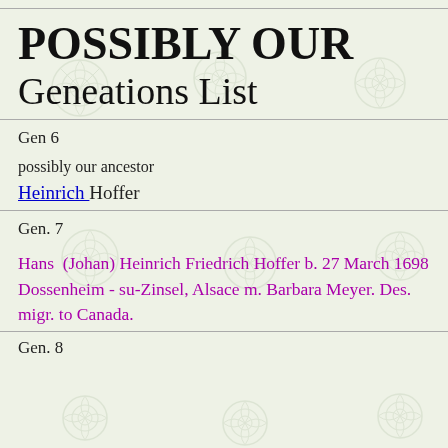POSSIBLY OUR Geneations List
Gen  6
possibly our ancestor
Heinrich Hoffer
Gen. 7
Hans  (Johan) Heinrich Friedrich Hoffer b. 27 March 1698 Dossenheim - su-Zinsel, Alsace m. Barbara Meyer. Des. migr. to Canada.
Gen. 8